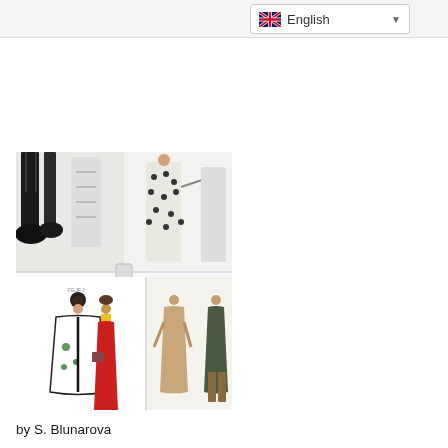English
[Figure (photo): Fashion illustration artwork showing multiple hand-drawn fashion sketches of models in various outfits including a red dress, white cape with black accents, polka dot garments, and other clothing designs, arranged as overlapping boards/cards]
by S. Blunarova